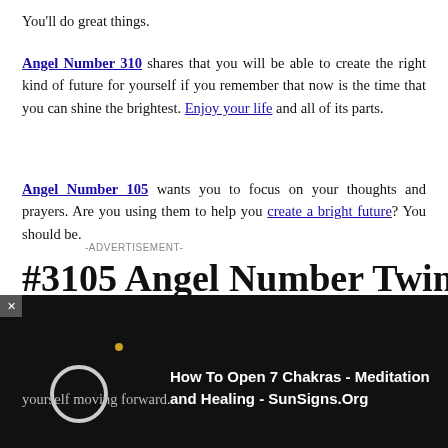You'll do great things.
Angel Number 310 shares that you will be able to create the right kind of future for yourself if you remember that now is the time that you can shine the brightest. Enjoy your life and all of its parts.
Angel Number 105 wants you to focus on your thoughts and prayers. Are you using them to help you create a bright future? You should be.
-ADVERTISEMENT-
#3105 Angel Number Twin
[Figure (screenshot): Video overlay on dark background showing a circle icon and dot, with text: How To Open 7 Chakras - Meditation and Healing - SunSigns.Org]
yourself moving forward.